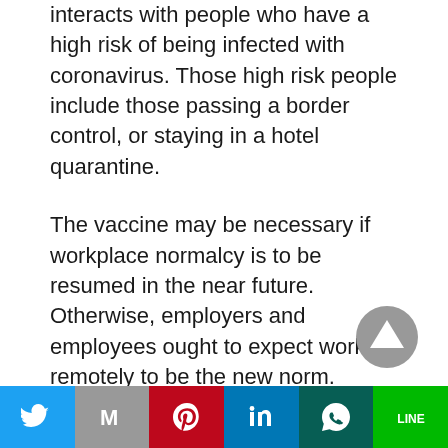interacts with people who have a high risk of being infected with coronavirus. Those high risk people include those passing a border control, or staying in a hotel quarantine.
The vaccine may be necessary if workplace normalcy is to be resumed in the near future. Otherwise, employers and employees ought to expect working remotely to be the new norm.
Should you have any questions, please do not hesitate to contact us on enquiries@alsarraylawyers.com.au
[Figure (other): Social sharing bar with icons for Twitter, Gmail, Pinterest, LinkedIn, WhatsApp, and Line]